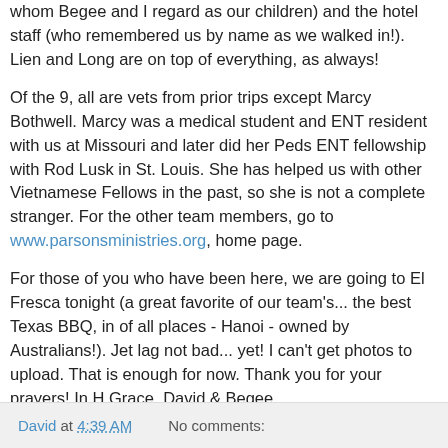whom Begee and I regard as our children) and the hotel staff (who remembered us by name as we walked in!). Lien and Long are on top of everything, as always!
Of the 9, all are vets from prior trips except Marcy Bothwell. Marcy was a medical student and ENT resident with us at Missouri and later did her Peds ENT fellowship with Rod Lusk in St. Louis. She has helped us with other Vietnamese Fellows in the past, so she is not a complete stranger. For the other team members, go to www.parsonsministries.org, home page.
For those of you who have been here, we are going to El Fresca tonight (a great favorite of our team's... the best Texas BBQ, in of all places - Hanoi - owned by Australians!). Jet lag not bad... yet! I can't get photos to upload. That is enough for now. Thank you for your prayers! In H Grace, David & Begee
David at 4:39 AM   No comments: